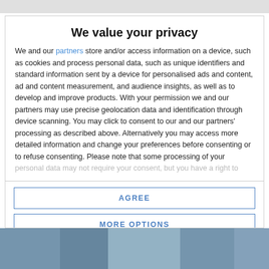We value your privacy
We and our partners store and/or access information on a device, such as cookies and process personal data, such as unique identifiers and standard information sent by a device for personalised ads and content, ad and content measurement, and audience insights, as well as to develop and improve products. With your permission we and our partners may use precise geolocation data and identification through device scanning. You may click to consent to our and our partners' processing as described above. Alternatively you may access more detailed information and change your preferences before consenting or to refuse consenting. Please note that some processing of your personal data may not require your consent, but you have a right to
AGREE
MORE OPTIONS
[Figure (photo): Bottom portion of page showing a photo strip partially visible]